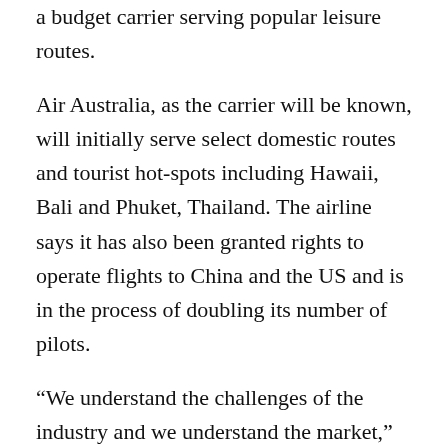a budget carrier serving popular leisure routes.
Air Australia, as the carrier will be known, will initially serve select domestic routes and tourist hotspots including Hawaii, Bali and Phuket, Thailand. The airline says it has also been granted rights to operate flights to China and the US and is in the process of doubling its number of pilots.
“We understand the challenges of the industry and we understand the market,” company CEO Michael James said in a statement. “We also believe that there is mounting nostalgia in the consumer market and in the industry for an airline which offers genuine value and makes it readily possible for families and Australians of all ages to have the chance to fly.”